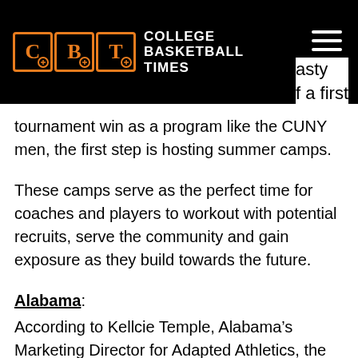College Basketball Times
asty f a first tournament win as a program like the CUNY men, the first step is hosting summer camps.
These camps serve as the perfect time for coaches and players to workout with potential recruits, serve the community and gain exposure as they build towards the future.
Alabama:
According to Kellcie Temple, Alabama’s Marketing Director for Adapted Athletics, the camps are “definitely a time where our coaches will just scout who they are thinking about and who